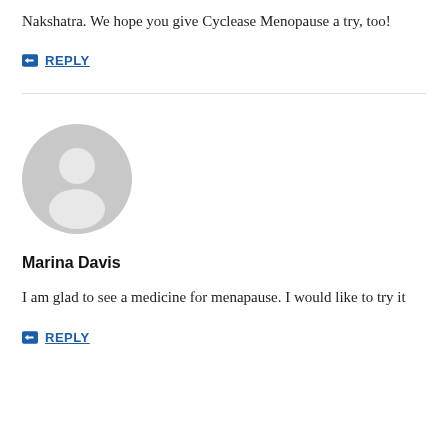Nakshatra. We hope you give Cyclease Menopause a try, too!
REPLY
[Figure (illustration): Generic grey user avatar circle with silhouette of a person inside]
Marina Davis
I am glad to see a medicine for menapause. I would like to try it
REPLY